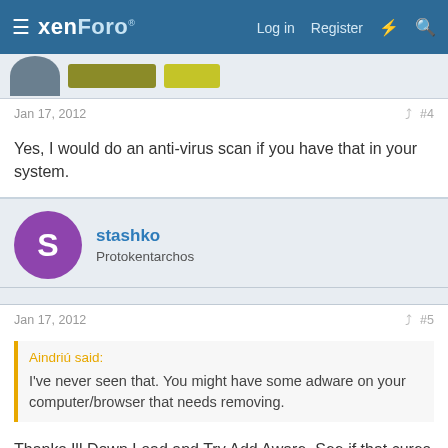xenForo — Log in  Register
Jan 17, 2012  #4
Yes, I would do an anti-virus scan if you have that in your system.
stashko
Protokentarchos
Jan 17, 2012  #5
Aindriú said:
I've never seen that. You might have some adware on your computer/browser that needs removing.
Thanks Ill Down Load and Try Add Aware ,See if that cures the Problem....